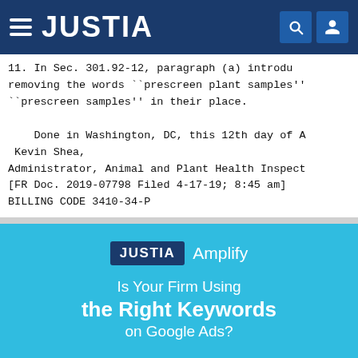JUSTIA
11. In Sec. 301.92-12, paragraph (a) introductory text is amended by removing the words ``prescreen plant samples'' and adding the words ``prescreen samples'' in their place.
Done in Washington, DC, this 12th day of A Kevin Shea,
Administrator, Animal and Plant Health Inspect
[FR Doc. 2019-07798 Filed 4-17-19; 8:45 am]
BILLING CODE 3410-34-P
[Figure (logo): JUSTIA Amplify advertisement banner with text: Is Your Firm Using the Right Keywords on Google Ads?]